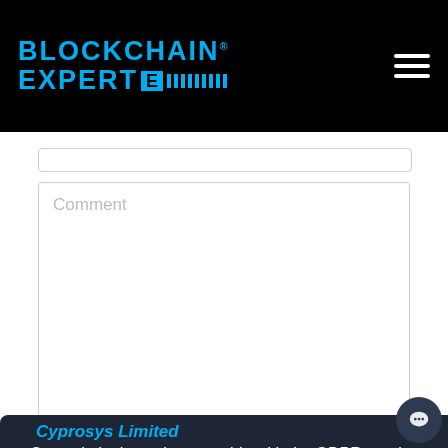BLOCKCHAIN® EXPERTE
Comment
Our website is made agreeable with the GDPR requirements. Click to view the refreshed privacy policy of ours. According to our privacy policy, we use cookies for different highlights. We trust that is alright, If you disagree, disable the cookies.
Privacy policy
Accept
Cyprosys Limited